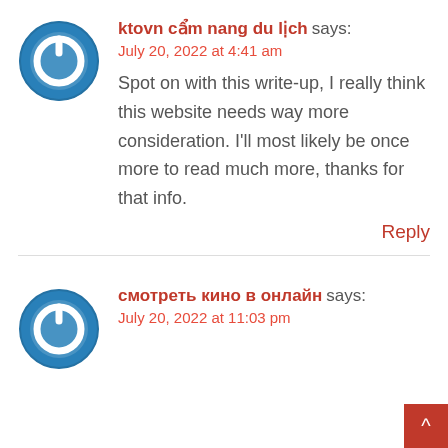[Figure (logo): Blue circular power button icon avatar for first commenter]
ktovn cẩm nang du lịch says:
July 20, 2022 at 4:41 am
Spot on with this write-up, I really think this website needs way more consideration. I'll most likely be once more to read much more, thanks for that info.
Reply
[Figure (logo): Blue circular power button icon avatar for second commenter]
смотреть кино в онлайн says:
July 20, 2022 at 11:03 pm